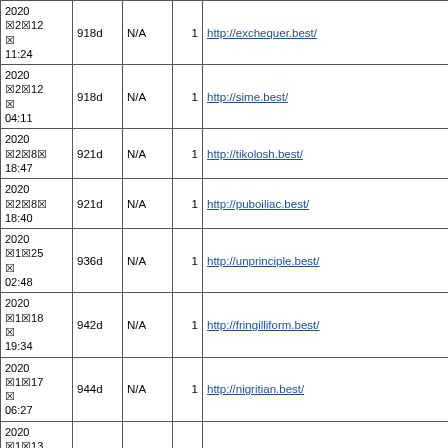| Date | Age | N/A | Num | URL |
| --- | --- | --- | --- | --- |
| 2020
12
12
11:24 | 918d | N/A | 1 | http://exchequer.best/ |
| 2020
12
12
04:11 | 918d | N/A | 1 | http://sime.best/ |
| 2020
12
8
18:47 | 921d | N/A | 1 | http://tikolosh.best/ |
| 2020
12
8
18:40 | 921d | N/A | 1 | http://puboiliac.best/ |
| 2020
11
25
02:48 | 936d | N/A | 1 | http://unprinciple.best/ |
| 2020
11
18
19:34 | 942d | N/A | 1 | http://fringilliform.best/ |
| 2020
11
17
06:27 | 944d | N/A | 1 | http://nigritian.best/ |
| 2020
11
13
20:53 | 947d | N/A | 1 | http://intercommune.best/ |
| 2020
11
10
13:50 | 951d | N/A | 1 | http://electra.best/ |
| 2020
11
8 | 952d | N/A | 1 | http://unbibulous.best/ |